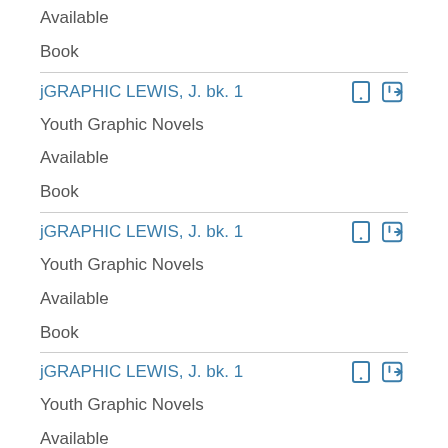Available
Book
jGRAPHIC LEWIS, J. bk. 1
Youth Graphic Novels
Available
Book
jGRAPHIC LEWIS, J. bk. 1
Youth Graphic Novels
Available
Book
jGRAPHIC LEWIS, J. bk. 1
Youth Graphic Novels
Available